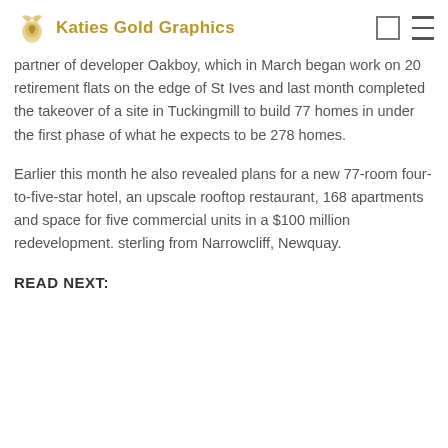Katies Gold Graphics
partner of developer Oakboy, which in March began work on 20 retirement flats on the edge of St Ives and last month completed the takeover of a site in Tuckingmill to build 77 homes in under the first phase of what he expects to be 278 homes.
Earlier this month he also revealed plans for a new 77-room four-to-five-star hotel, an upscale rooftop restaurant, 168 apartments and space for five commercial units in a $100 million redevelopment. sterling from Narrowcliff, Newquay.
READ NEXT: